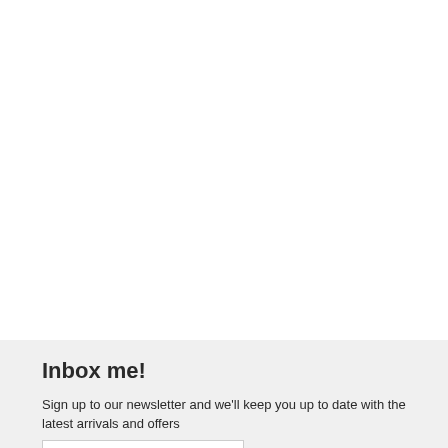Inbox me!
Sign up to our newsletter and we'll keep you up to date with the latest arrivals and offers